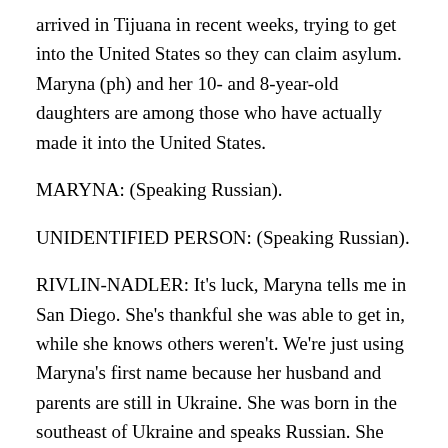arrived in Tijuana in recent weeks, trying to get into the United States so they can claim asylum. Maryna (ph) and her 10- and 8-year-old daughters are among those who have actually made it into the United States.
MARYNA: (Speaking Russian).
UNIDENTIFIED PERSON: (Speaking Russian).
RIVLIN-NADLER: It's luck, Maryna tells me in San Diego. She's thankful she was able to get in, while she knows others weren't. We're just using Maryna's first name because her husband and parents are still in Ukraine. She was born in the southeast of Ukraine and speaks Russian. She told me that at first, she couldn't believe the news reports.
MARYNA: (Speaking Russian).